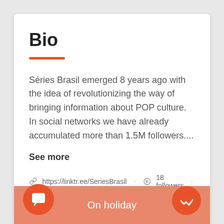Bio
Séries Brasil emerged 8 years ago with the idea of revolutionizing the way of bringing information about POP culture. In social networks we have already accumulated more than 1.5M followers....
See more
https://linktr.ee/SeriesBrasil · 18 followers ·
On holiday